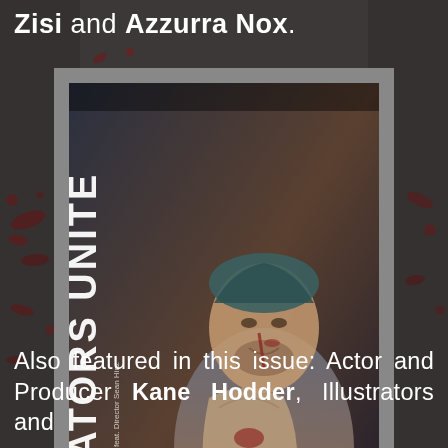Zisi and Azzurra Nox.
[Figure (photo): Magazine cover for 'Creators Unite' featuring a bloodied man in a white shirt, with vertical text reading 'CREATORS UNITE' and additional small text. An issuu watermark appears at the bottom right of the embed.]
Also featured in this issue: Actor and Producer Kane Hodder, Illustrators and